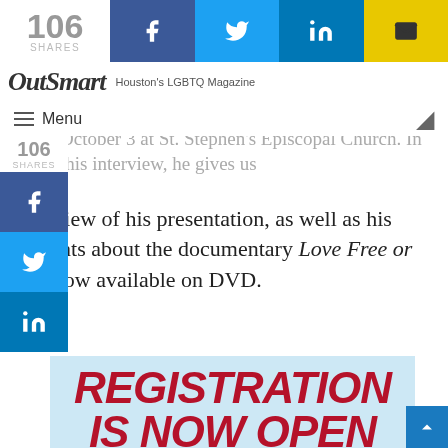106 SHARES | OutSmart Houston's LGBTQ Magazine | Facebook | Twitter | LinkedIn | Email
OutSmart Houston's LGBTQ Magazine | Menu
Bishop [text continues] Houston for a speaking engagement on October 3 at St. Stephen's Episcopal Church. In this interview, he gives us a preview of his presentation, as well as his thoughts about the documentary Love Free or Die, now available on DVD.
[Figure (infographic): Advertisement for Lone Star College with large red italic text 'REGISTRATION IS NOW OPEN', a gold underline, the Lone Star College circular logo (blue, red, white with Texas star), and a black panther mascot figure on a light blue background.]
Back to top arrow button